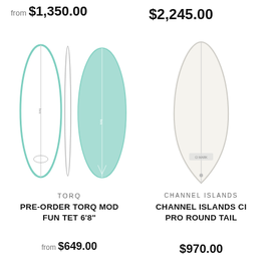from $1,350.00
$2,245.00
[Figure (photo): Three surfboard views: front face view (white with mint/teal outline, oval shape), side profile view (thin), and back face view (mint/teal filled, oval shape) - TORQ brand surfboards]
TORQ
PRE-ORDER TORQ MOD FUN TET 6'8"
from $649.00
[Figure (photo): Single surfboard view: front face view of a white/cream shortboard with pointed nose and round tail - Channel Islands brand]
CHANNEL ISLANDS
CHANNEL ISLANDS CI PRO ROUND TAIL
$970.00